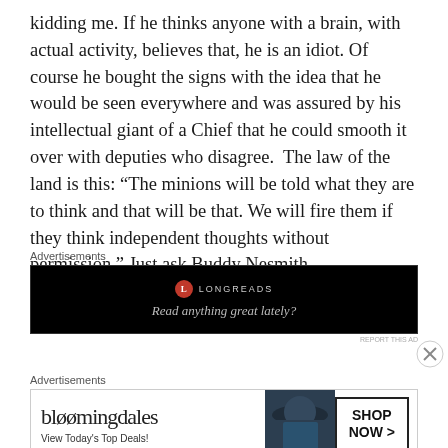kidding me. If he thinks anyone with a brain, with actual activity, believes that, he is an idiot. Of course he bought the signs with the idea that he would be seen everywhere and was assured by his intellectual giant of a Chief that he could smooth it over with deputies who disagree.  The law of the land is this: “The minions will be told what they are to think and that will be that. We will fire them if they think independent thoughts without permission.” Just ask Buddy Nesmith.
Advertisements
[Figure (other): Advertisement for Longreads with black background. Shows Longreads logo (red circle with L) and tagline 'Read anything great lately?']
REPORT THIS AD
Advertisements
[Figure (other): Bloomingdale's advertisement showing brand name, 'View Today's Top Deals!', a woman in a hat, and 'SHOP NOW >' button]
REPORT THIS AD